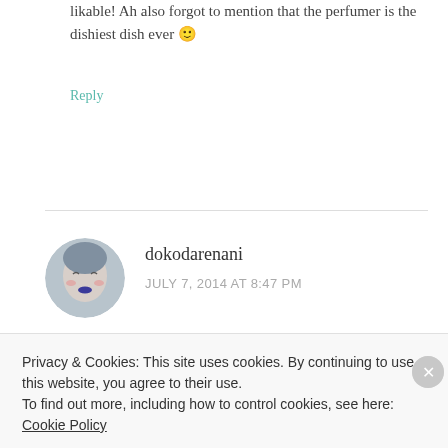likable! Ah also forgot to mention that the perfumer is the dishiest dish ever 🙂
Reply
[Figure (illustration): Circular avatar image of user dokodarenani, showing an illustrated anime-style face with blue lips and closed eyes]
dokodarenani
JULY 7, 2014 AT 8:47 PM
I'm admittedly veeeery curious to try this but of course I a
Privacy & Cookies: This site uses cookies. By continuing to use this website, you agree to their use. To find out more, including how to control cookies, see here: Cookie Policy
Close and accept